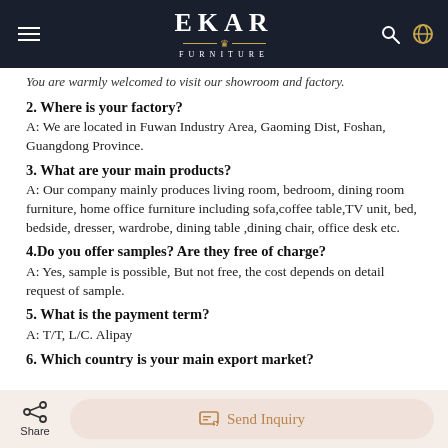EKAR FURNITURE
You are warmly welcomed to visit our showroom and factory.
2. Where is your factory?
A: We are located in Fuwan Industry Area, Gaoming Dist, Foshan, Guangdong Province.
3. What are your main products?
A: Our company mainly produces living room, bedroom, dining room furniture, home office furniture including sofa,coffee table,TV unit, bed, bedside, dresser, wardrobe, dining table ,dining chair, office desk etc.
4.Do you offer samples? Are they free of charge?
A: Yes, sample is possible, But not free, the cost depends on detail request of sample.
5. What is the payment term?
A: T/T, L/C. Alipay
6. Which country is your main export market?
Share | Send Inquiry